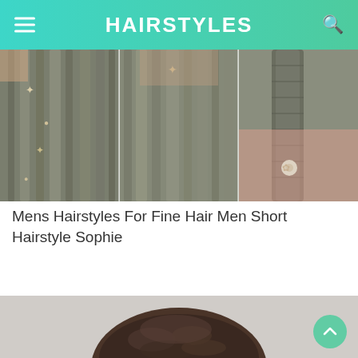HAIRSTYLES
[Figure (photo): Three hairstyle photos side by side: left shows hair with starfish and pearl accessories, center shows straight long hair with star clip, right shows a thick braid with flower accessory on pink-shirted person]
Mens Hairstyles For Fine Hair Men Short Hairstyle Sophie
[Figure (photo): Top of a man's head showing short dark brown textured hair against a light grey background]